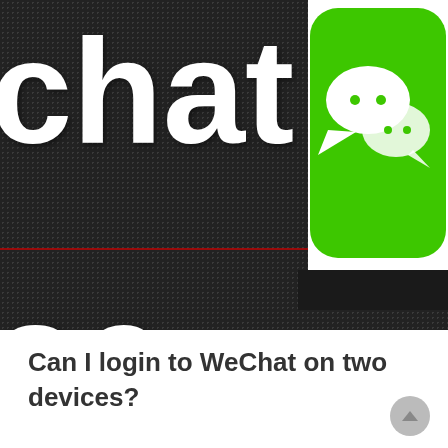[Figure (screenshot): WeChat app screenshot thumbnail with dark dotted background showing partial text 'chat' and 'oc' in large white bold letters, a play button icon overlay, and a green WeChat logo icon on the right side]
Can I login to WeChat on two devices?